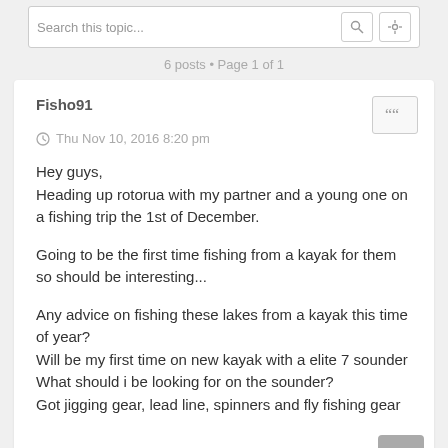Search this topic...
6 posts • Page 1 of 1
Fisho91
Thu Nov 10, 2016 8:20 pm
Hey guys,
Heading up rotorua with my partner and a young one on a fishing trip the 1st of December.

Going to be the first time fishing from a kayak for them so should be interesting...

Any advice on fishing these lakes from a kayak this time of year?
Will be my first time on new kayak with a elite 7 sounder
What should i be looking for on the sounder?
Got jigging gear, lead line, spinners and fly fishing gear